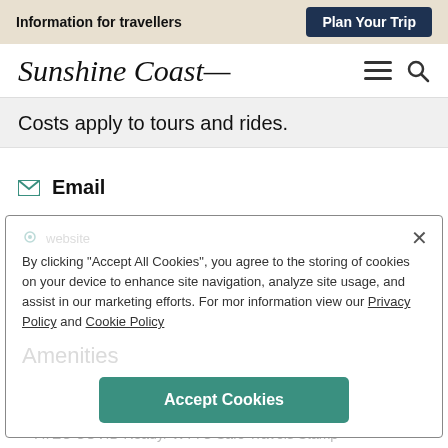Information for travellers   Plan Your Trip
[Figure (logo): Sunshine Coast handwritten logo with hamburger menu and search icon]
Costs apply to tours and rides.
Email
1800 067 686
By clicking "Accept All Cookies", you agree to the storing of cookies on your device to enhance site navigation, analyze site usage, and assist in our marketing efforts. For mor information view our Privacy Policy and Cookie Policy
website
Amenities
ATEC COVID Ready/ WTTC Safe Travels Stamp